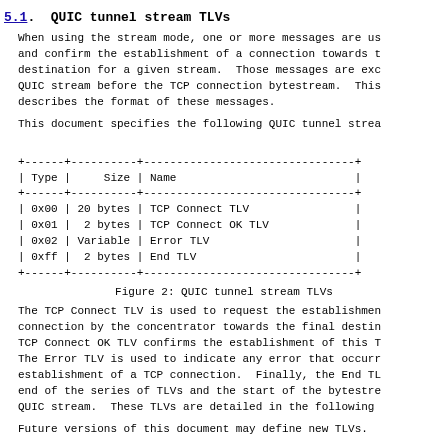5.1.  QUIC tunnel stream TLVs
When using the stream mode, one or more messages are us
and confirm the establishment of a connection towards t
destination for a given stream.  Those messages are exc
QUIC stream before the TCP connection bytestream.  This
describes the format of these messages.
This document specifies the following QUIC tunnel strea
| Type | Size | Name |
| --- | --- | --- |
| 0x00 | 20 bytes | TCP Connect TLV |
| 0x01 | 2 bytes | TCP Connect OK TLV |
| 0x02 | Variable | Error TLV |
| 0xff | 2 bytes | End TLV |
Figure 2: QUIC tunnel stream TLVs
The TCP Connect TLV is used to request the establishmen
connection by the concentrator towards the final destin
TCP Connect OK TLV confirms the establishment of this T
The Error TLV is used to indicate any error that occurr
establishment of a TCP connection.  Finally, the End TL
end of the series of TLVs and the start of the bytstre
QUIC stream.  These TLVs are detailed in the following
Future versions of this document may define new TLVs.